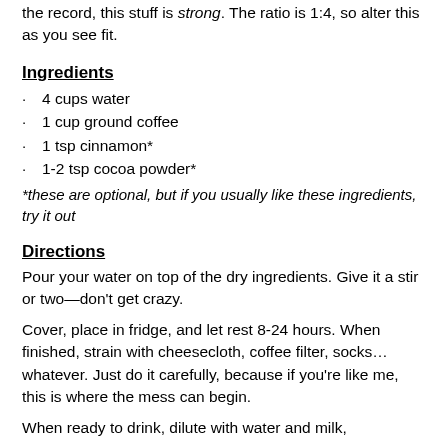the record, this stuff is strong. The ratio is 1:4, so alter this as you see fit.
Ingredients
4 cups water
1 cup ground coffee
1 tsp cinnamon*
1-2 tsp cocoa powder*
*these are optional, but if you usually like these ingredients, try it out
Directions
Pour your water on top of the dry ingredients. Give it a stir or two—don't get crazy.
Cover, place in fridge, and let rest 8-24 hours. When finished, strain with cheesecloth, coffee filter, socks… whatever. Just do it carefully, because if you're like me, this is where the mess can begin.
When ready to drink, dilute with water and milk,